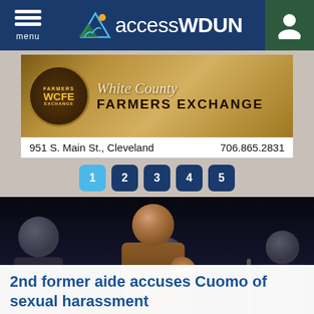menu | accessWDUN
[Figure (photo): White County Farmers Exchange advertisement banner with WCFE seal logo, script text 'White County' and bold 'FARMERS EXCHANGE', address 951 S. Main St., Cleveland, phone 706.865.2831]
951 S. Main St., Cleveland    706.865.2831
[Figure (other): Pagination buttons: 1 (light blue, active), 2, 3, 4, 5 (dark navy)]
[Figure (photo): Photo of a man (Governor Cuomo) speaking at a microphone, wearing a brown jacket, gesturing with his right hand. Several masked individuals stand behind him in a dark background.]
2nd former aide accuses Cuomo of sexual harassment